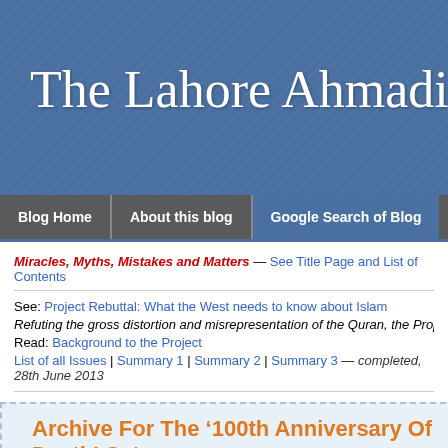The Lahore Ahmadiyya M
Blog Home | About this blog | Google Search of Blog
Miracles, Myths, Mistakes and Matters — See Title Page and List of Contents
See: Project Rebuttal: What the West needs to know about Islam
Refuting the gross distortion and misrepresentation of the Quran, the Prophet Muhammad a
Read: Background to the Project
List of all Issues | Summary 1 | Summary 2 | Summary 3 — completed, 28th June 2013
Archive For The '100th Anniversary Of Death' Category
Photographic archive of Centenary Convention in Lahore
Wednesday, June 25th, 2008